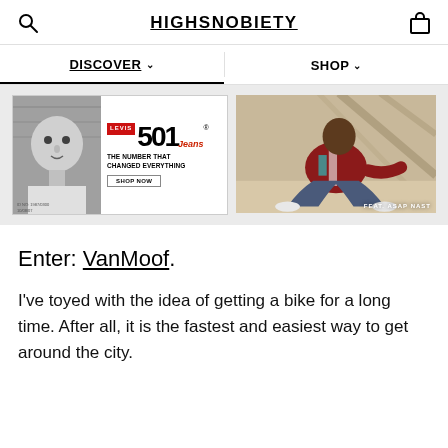HIGHSNOBIETY
DISCOVER  SHOP
[Figure (photo): Levi's 501 Jeans advertisement banner with black-and-white photo on left and A$AP Nast wearing Levi's jeans on right. Text: THE NUMBER THAT CHANGED EVERYTHING, SHOP NOW, FEAT. ASAP NAST]
Enter: VanMoof.
I've toyed with the idea of getting a bike for a long time. After all, it is the fastest and easiest way to get around the city.